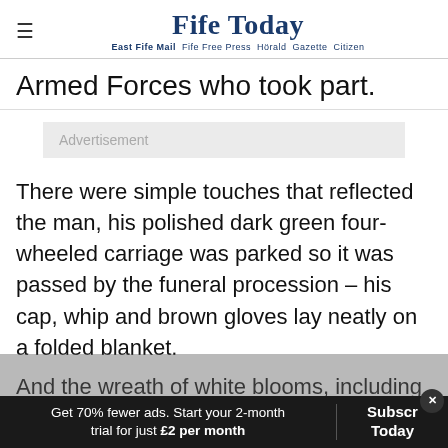Fife Today — East Fife Mail  Fife Free Press  Hörald  Gazette  Citizen
Armed Forces who took part.
[Figure (other): Advertisement placeholder box with grey background]
There were simple touches that reflected the man, his polished dark green four-wheeled carriage was parked so it was passed by the funeral procession – his cap, whip and brown gloves lay neatly on a folded blanket.
And the wreath of white blooms, including roses
Get 70% fewer ads. Start your 2-month trial for just £2 per month
Subscribe Today